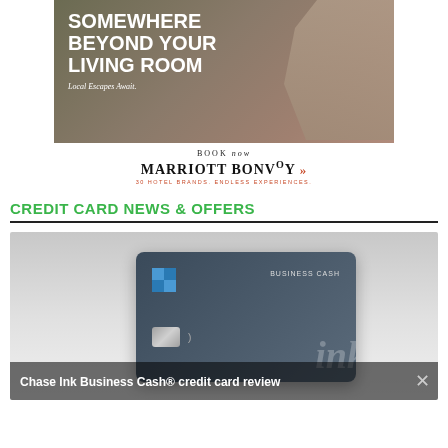[Figure (illustration): Marriott Bonvoy advertisement banner showing a couple at a hotel balcony with text 'UNWIND SOMEWHERE BEYOND YOUR LIVING ROOM' and 'Local Escapes Await.' with a 'BOOK now MARRIOTT BONVOY' call to action and tagline '30 HOTEL BRANDS. ENDLESS EXPERIENCES.']
CREDIT CARD NEWS & OFFERS
[Figure (photo): Chase Ink Business Cash credit card image on a gray gradient background, with an overlay banner at the bottom reading 'Chase Ink Business Cash® credit card review' and a close (X) button.]